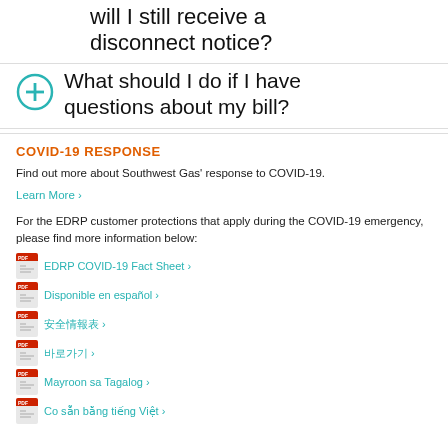will I still receive a disconnect notice?
What should I do if I have questions about my bill?
COVID-19 RESPONSE
Find out more about Southwest Gas' response to COVID-19.
Learn More ›
For the EDRP customer protections that apply during the COVID-19 emergency, please find more information below:
EDRP COVID-19 Fact Sheet ›
Disponible en español ›
ￛￛￛￛￛￛ ›
ￛￛￛￛￛￛ ›
Mayroon sa Tagalog ›
Co sẵn bằng tiếng Việt ›